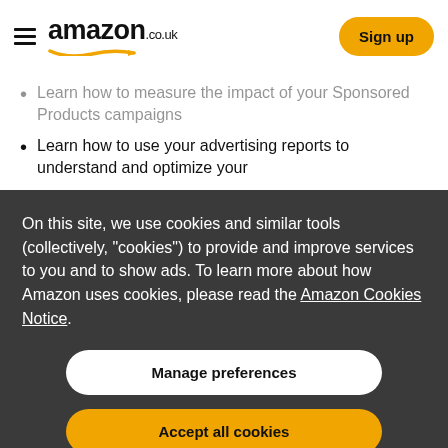amazon.co.uk — Sign up
Learn how to measure the impact of your Sponsored Products campaigns
Learn how to use your advertising reports to understand and optimize your
On this site, we use cookies and similar tools (collectively, "cookies") to provide and improve services to you and to show ads. To learn more about how Amazon uses cookies, please read the Amazon Cookies Notice.